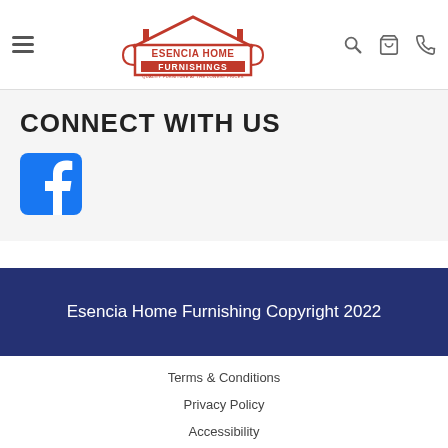[Figure (logo): Esencia Home Furnishings logo with red house outline and red text]
CONNECT WITH US
[Figure (logo): Facebook logo icon, blue square with white f]
Esencia Home Furnishing Copyright 2022
Terms & Conditions
Privacy Policy
Accessibility